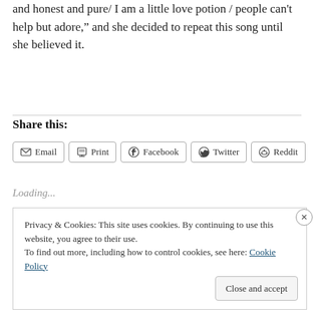and honest and pure/ I am a little love potion / people can't help but adore," and she decided to repeat this song until she believed it.
Share this:
Email  Print  Facebook  Twitter  Reddit
Loading...
Privacy & Cookies: This site uses cookies. By continuing to use this website, you agree to their use.
To find out more, including how to control cookies, see here: Cookie Policy
Close and accept